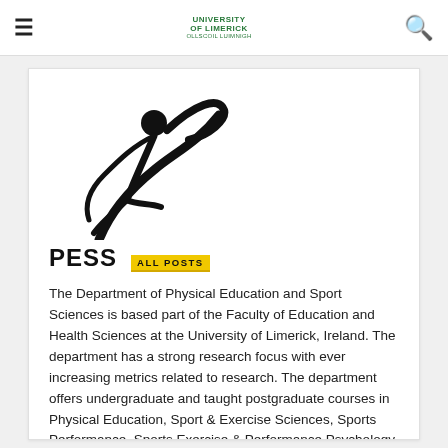≡  [University of Limerick logo]  🔍
[Figure (logo): Stylized figure of a person in motion — a dynamic athlete silhouette logo for PESS (Physical Education and Sport Sciences)]
PESS  ALL POSTS
The Department of Physical Education and Sport Sciences is based part of the Faculty of Education and Health Sciences at the University of Limerick, Ireland. The department has a strong research focus with ever increasing metrics related to research. The department offers undergraduate and taught postgraduate courses in Physical Education, Sport & Exercise Sciences, Sports Performance, Sports Exercise & Performance Psychology. In addition, we